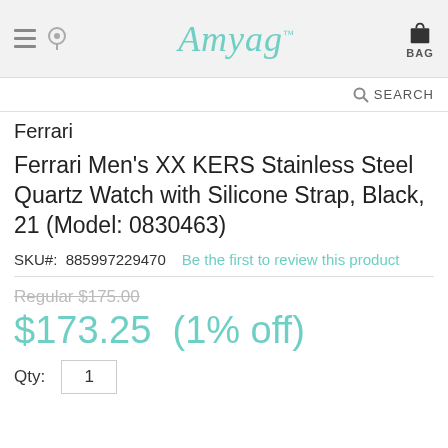Amyag™ — BAG
SEARCH
Ferrari
Ferrari Men's XX KERS Stainless Steel Quartz Watch with Silicone Strap, Black, 21 (Model: 0830463)
SKU#:  885997229470    Be the first to review this product
Regular $175.00
$173.25  (1% off)
Qty:  1